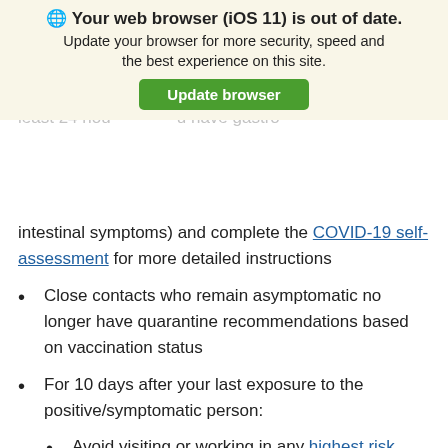[Figure (screenshot): Browser update notification banner saying 'Your web browser (iOS 11) is out of date. Update your browser for more security, speed and the best experience on this site.' with a green 'Update browser' button.]
intestinal symptoms) and complete the COVID-19 self-assessment for more detailed instructions
Close contacts who remain asymptomatic no longer have quarantine recommendations based on vaccination status
For 10 days after your last exposure to the positive/symptomatic person:
Avoid visiting or working in any highest risk setting (unless you have tested positive for COVID-19 in the past 90 days)